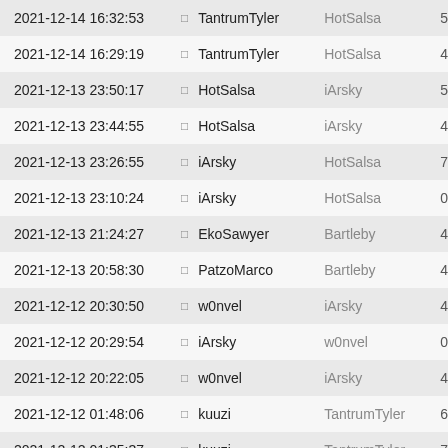| Datetime |  | User1 | User2 | Num |
| --- | --- | --- | --- | --- |
| 2021-12-14 16:32:53 | □ | TantrumTyler | HotSalsa | 5 |
| 2021-12-14 16:29:19 | □ | TantrumTyler | HotSalsa | 4 |
| 2021-12-13 23:50:17 | □ | HotSalsa | iArsky | 5 |
| 2021-12-13 23:44:55 | □ | HotSalsa | iArsky | 4 |
| 2021-12-13 23:26:55 | □ | iArsky | HotSalsa | 7 |
| 2021-12-13 23:10:24 | □ | iArsky | HotSalsa | 0 |
| 2021-12-13 21:24:27 | □ | EkoSawyer | Bartleby | 4 |
| 2021-12-13 20:58:30 | □ | PatzoMarco | Bartleby | 4 |
| 2021-12-12 20:30:50 | □ | w0nvel | iArsky | 4 |
| 2021-12-12 20:29:54 | □ | iArsky | w0nvel | 0 |
| 2021-12-12 20:22:05 | □ | w0nvel | iArsky | 4 |
| 2021-12-12 01:48:06 | □ | kuuzi | TantrumTyler | 6 |
| 2021-12-12 01:35:37 | □ | kuuzi | TantrumTyler | 7 |
| 2021-12-12 01:29:25 | □ | kuuzi | TantrumTyler | 5 |
| 2021-12-12 00:13:35 | □ | PatzoMarco | DML | 4 |
| 2021-12-11 23:47:06 | □ | PatzoMarco | DML | 5 |